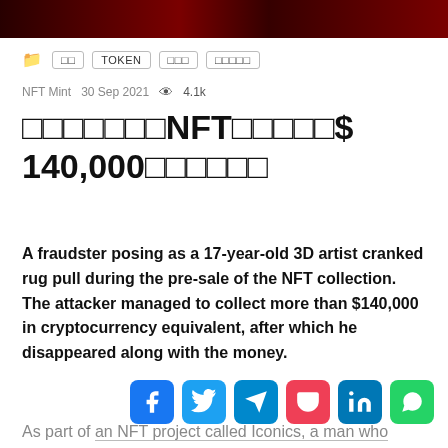[Figure (photo): Dark red/black banner image at the top of the article page]
📁 NFT TOKEN 암호화폐 블록체인
NFT Mint   30 Sep 2021   👁 4.1k
한국어NFT컬렉션$140,000암호화폐러그풀
A fraudster posing as a 17-year-old 3D artist cranked rug pull during the pre-sale of the NFT collection. The attacker managed to collect more than $140,000 in cryptocurrency equivalent, after which he disappeared along with the money.
As part of an NFT project called Iconics, a man who identified himself as a young 3D artist announced